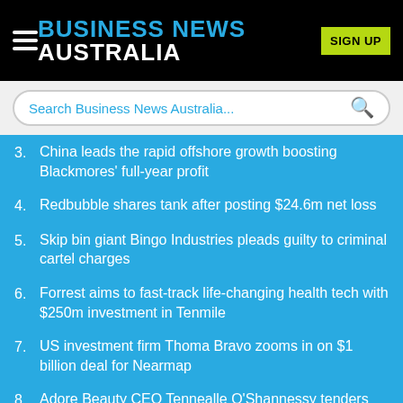BUSINESS NEWS AUSTRALIA
Search Business News Australia...
3. China leads the rapid offshore growth boosting Blackmores' full-year profit
4. Redbubble shares tank after posting $24.6m net loss
5. Skip bin giant Bingo Industries pleads guilty to criminal cartel charges
6. Forrest aims to fast-track life-changing health tech with $250m investment in Tenmile
7. US investment firm Thoma Bravo zooms in on $1 billion deal for Nearmap
8. Adore Beauty CEO Tennealle O'Shannessy tenders resignation
9. F45 shares in a bloodbath after founder Gilchrist quits as CEO